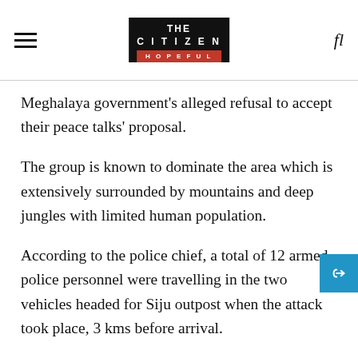THE CITIZEN — HOPEFUL
Meghalaya government's alleged refusal to accept their peace talks' proposal.
The group is known to dominate the area which is extensively surrounded by mountains and deep jungles with limited human population.
According to the police chief, a total of 12 armed police personnel were travelling in the two vehicles headed for Siju outpost when the attack took place, 3 kms before arrival.
Meanwhile, Chief Minister Mukul Sangma has